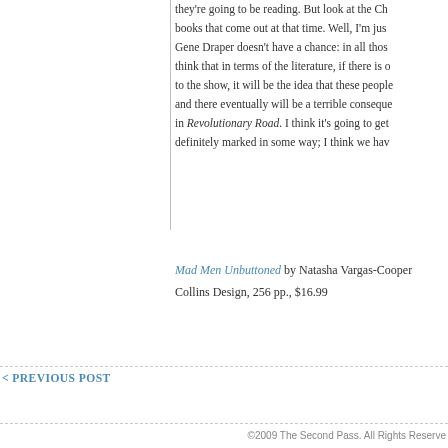they're going to be reading. But look at the Ch books that come out at that time. Well, I'm jus Gene Draper doesn't have a chance: in all thos think that in terms of the literature, if there is o to the show, it will be the idea that these people and there eventually will be a terrible conseque in Revolutionary Road. I think it's going to get definitely marked in some way; I think we hav
Mad Men Unbuttoned by Natasha Vargas-Cooper
Collins Design, 256 pp., $16.99
< PREVIOUS POST
©2009 The Second Pass. All Rights Reserve